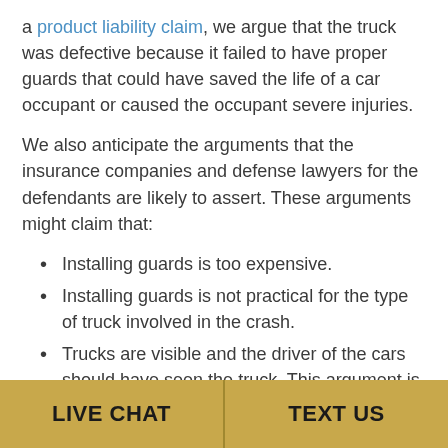a product liability claim, we argue that the truck was defective because it failed to have proper guards that could have saved the life of a car occupant or caused the occupant severe injuries.
We also anticipate the arguments that the insurance companies and defense lawyers for the defendants are likely to assert. These arguments might claim that:
Installing guards is too expensive.
Installing guards is not practical for the type of truck involved in the crash.
Trucks are visible and the driver of the cars should have seen the truck. This argument is often untrue (and doesn't have legal merit). Many accidents happen at night. Often, the lights on 18-wheelers and any reflectors just aren't visible at night. Many times, the accident happens so quickly that the car
LIVE CHAT | TEXT US